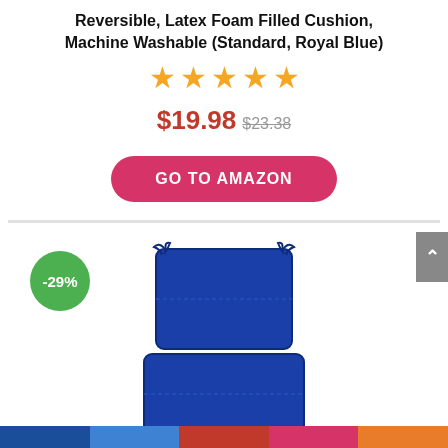Reversible, Latex Foam Filled Cushion, Machine Washable (Standard, Royal Blue)
[Figure (other): Five orange star rating icons]
$19.98 $23.38
[Figure (other): GO TO AMAZON button (red/pink pill shape)]
[Figure (photo): Blue squared chair cushion product photo with -29% discount badge]
Pillow Perfect Outdoor/Indoor Squared Chair